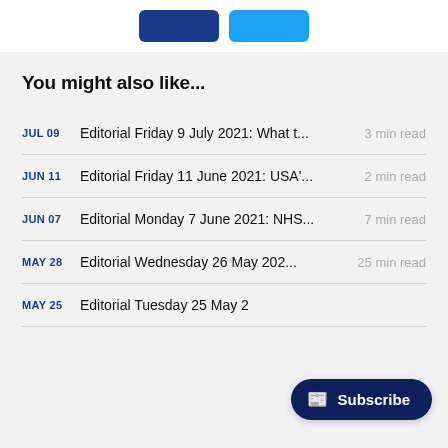[Figure (other): Two social sharing buttons (dark blue and light blue) at the top of the page]
You might also like...
JUL 09  Editorial Friday 9 July 2021: What t...  3 min read
JUN 11  Editorial Friday 11 June 2021: USA'...  2 min read
JUN 07  Editorial Monday 7 June 2021: NHS...  7 min read
MAY 28  Editorial Wednesday 26 May 202...  25 min read
MAY 25  Editorial Tuesday 25 May 2...